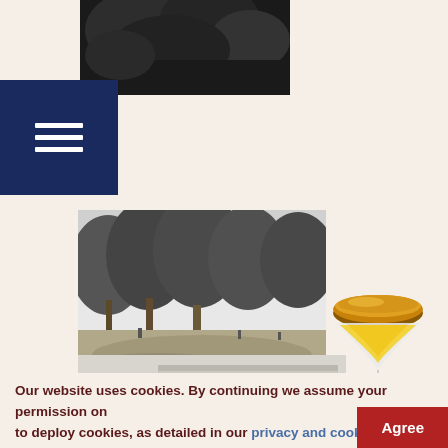[Figure (photo): Black and white photo of trees/foliage, partially visible at top of page]
[Figure (illustration): Navy blue hamburger menu icon with three horizontal white bars on dark blue square background]
[Figure (photo): Black and white historical photograph of trees in a park or garden setting with open ground]
[Figure (illustration): Colorful hourglass emoji/icon with golden top and bottom, yellow sand]
[Figure (photo): Black and white historical photograph of a building exterior with ornate architectural details]
Our website uses cookies. By continuing we assume your permission to deploy cookies, as detailed in our privacy and cookies policy.